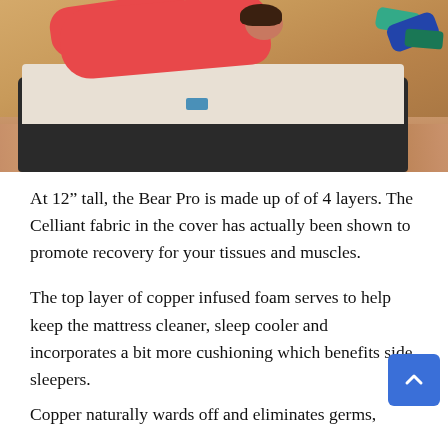[Figure (photo): Photo of a woman in a red top lying on a Bear Pro mattress on a hardwood floor, with dumbbells visible in the background on the right side.]
At 12” tall, the Bear Pro is made up of of 4 layers. The Celliant fabric in the cover has actually been shown to promote recovery for your tissues and muscles.
The top layer of copper infused foam serves to help keep the mattress cleaner, sleep cooler and incorporates a bit more cushioning which benefits side sleepers.
Copper naturally wards off and eliminates germs,